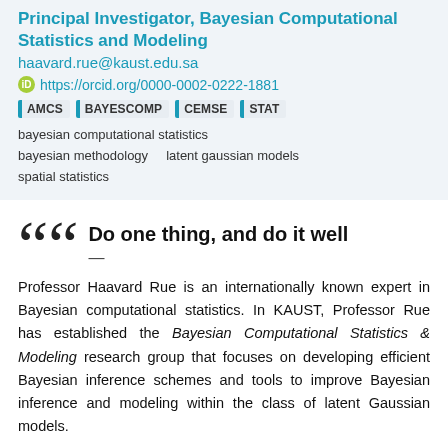Principal Investigator, Bayesian Computational Statistics and Modeling
haavard.rue@kaust.edu.sa
https://orcid.org/0000-0002-0222-1881
AMCS  BAYESCOMP  CEMSE  STAT
bayesian computational statistics
bayesian methodology    latent gaussian models
spatial statistics
Do one thing, and do it well
—
Professor Haavard Rue is an internationally known expert in Bayesian computational statistics. In KAUST, Professor Rue has established the Bayesian Computational Statistics & Modeling research group that focuses on developing efficient Bayesian inference schemes and tools to improve Bayesian inference and modeling within the class of latent Gaussian models.